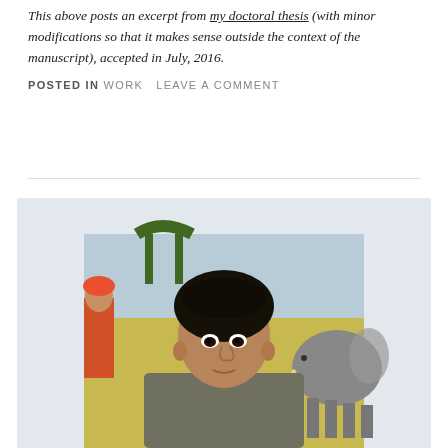This above posts an excerpt from my doctoral thesis (with minor modifications so that it makes sense outside the context of the manuscript), accepted in July, 2016.
POSTED IN WORK   LEAVE A COMMENT
[Figure (photo): Portrait photograph of a man with dark curly hair in front of a colorful painted mural featuring an elephant and figures, looking directly at the camera.]